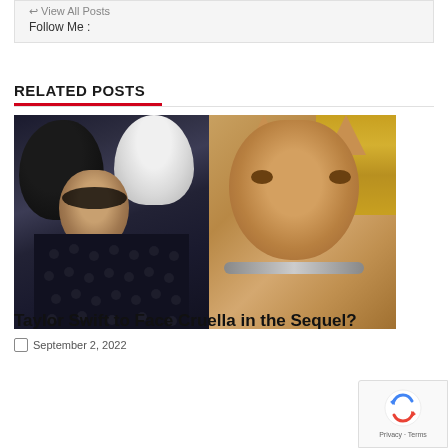View All Posts
Follow Me :
RELATED POSTS
[Figure (photo): Movie still composite: left side shows Cruella character with black and white hair and heavy dark eye makeup in gothic costume; right side shows a cat-human hybrid character from Cats (2019)]
Taylor Swift to Face Cruella in the Sequel?
September 2, 2022
[Figure (logo): reCAPTCHA badge with spinning arrows logo and Privacy · Terms text]